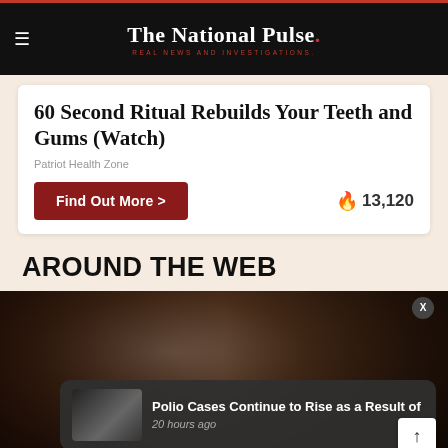The National Pulse. REAL NEWS AND INVESTIGATIONS.
60 Second Ritual Rebuilds Your Teeth and Gums (Watch)
Patriot Health Zone
Find Out More >
🔥 13,120
AROUND THE WEB
[Figure (photo): Close-up photo of an elderly man's face with blurred background]
Polio Cases Continue to Rise as a Result of
20 hours ago